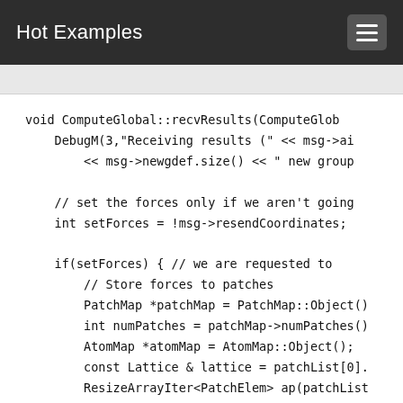Hot Examples
[Figure (screenshot): Code snippet showing C++ function ComputeGlobal::recvResults with force setting logic, patch map initialization, and atom map setup]
void ComputeGlobal::recvResults(ComputeGlob...
    DebugM(3,"Receiving results (" << msg->ai...
        << msg->newgdef.size() << " new group ...

    // set the forces only if we aren't going...
    int setForces = !msg->resendCoordinates;

    if(setForces) { // we are requested to...
        // Store forces to patches
        PatchMap *patchMap = PatchMap::Object()...
        int numPatches = patchMap->numPatches()...
        AtomMap *atomMap = AtomMap::Object();
        const Lattice & lattice = patchList[0]....
        ResizeArrayIter<PatchElem> ap(patchList...
        Force **f = new Force*[numPatches];
        FullAtom **t = new FullAtom*[numPatches...
        for ( int i = 0; i < numPatches; ++i )